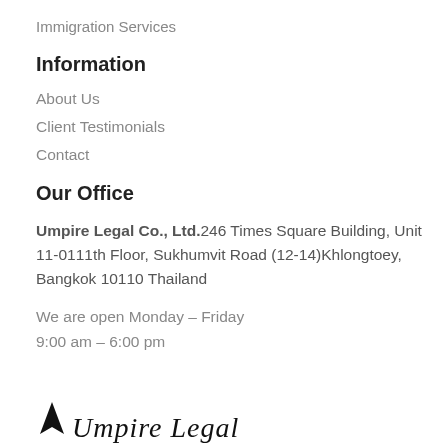Immigration Services
Information
About Us
Client Testimonials
Contact
Our Office
Umpire Legal Co., Ltd.246 Times Square Building, Unit 11-0111th Floor, Sukhumvit Road (12-14)Khlongtoey, Bangkok 10110 Thailand
We are open Monday – Friday
9:00 am – 6:00 pm
[Figure (logo): Logo with black droplet/flame icon and italic script text]